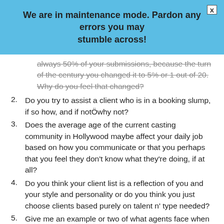We are in maintenance mode. Pardon any errors you may stumble across!
always 50% of your submissions, because the turn of the century you changed it to 5% or 1 out of 20. Why do you feel that changed?
Do you try to assist a client who is in a booking slump, if so how, and if notÖwhy not?
Does the average age of the current casting community in Hollywood maybe affect your daily job based on how you communicate or that you perhaps that you feel they don't know what they're doing, if at all?
Do you think your client list is a reflection of you and your style and personality or do you think you just choose clients based purely on talent n' type needed?
Give me an example or two of what agents face when dealing with that delicate balance between